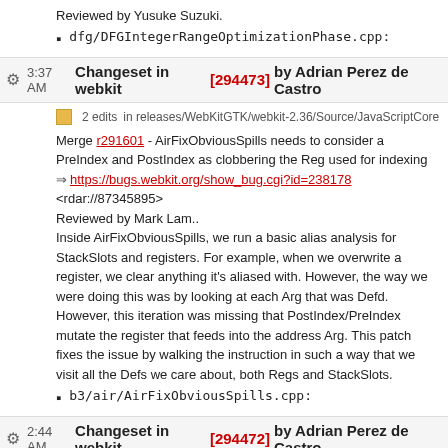Reviewed by Yusuke Suzuki.
dfg/DFGIntegerRangeOptimizationPhase.cpp:
3:37 AM Changeset in webkit [294473] by Adrian Perez de Castro
2 edits in releases/WebKitGTK/webkit-2.36/Source/JavaScriptCore
Merge r291601 - AirFixObviousSpills needs to consider a PreIndex and PostIndex as clobbering the Reg used for indexing
https://bugs.webkit.org/show_bug.cgi?id=238178
<rdar://87345895>
Reviewed by Mark Lam.
Inside AirFixObviousSpills, we run a basic alias analysis for StackSlots and registers. For example, when we overwrite a register, we clear anything it's aliased with. However, the way we were doing this was by looking at each Arg that was Defd. However, this iteration was missing that PostIndex/PreIndex mutate the register that feeds into the address Arg. This patch fixes the issue by walking the instruction in such a way that we visit all the Defs we care about, both Regs and StackSlots.
b3/air/AirFixObviousSpills.cpp:
2:44 AM Changeset in webkit [294472] by Adrian Perez de Castro
2 edits in releases/WebKitGTK/webkit-2.36/Source/WebCore
Merge r290999 - UniqueIDBDatabase::didFireVersionChangeEvent should capture identifier of UniqueIDBDatabaseConnection
https://bugs.webkit.org/show_bug.cgi?id=236950